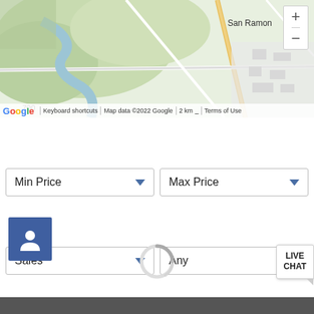[Figure (map): Google Maps view showing San Ramon area with roads, green terrain, and water features. Zoom in/out controls visible top right. Map footer shows Google logo, keyboard shortcuts, map data copyright 2022 Google, 2km scale, Terms of Use.]
[Figure (screenshot): Sales dropdown selector (left) and Any dropdown selector (right)]
[Figure (screenshot): Min Price dropdown selector (left) and Max Price dropdown selector (right)]
[Figure (screenshot): Blue user/person icon button]
[Figure (screenshot): Loading spinner (circular progress indicator)]
[Figure (screenshot): LIVE CHAT button in bottom right corner]